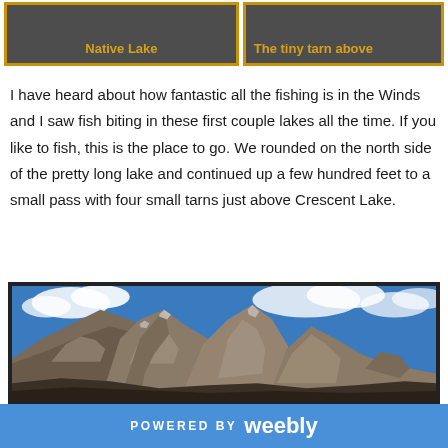[Figure (other): Two dark gray/brown card panels with gold borders showing 'Native Lake' and partially visible 'The tiny tarn above...' labels in gold text on dark background]
I have heard about how fantastic all the fishing is in the Winds and I saw fish biting in these first couple lakes all the time. If you like to fish, this is the place to go. We rounded on the north side of the pretty long lake and continued up a few hundred feet to a small pass with four small tarns just above Crescent Lake.
[Figure (photo): Mountain landscape photo showing rocky peaks with some snow patches against a blue sky with white clouds, rocky alpine terrain]
POWERED BY weebly